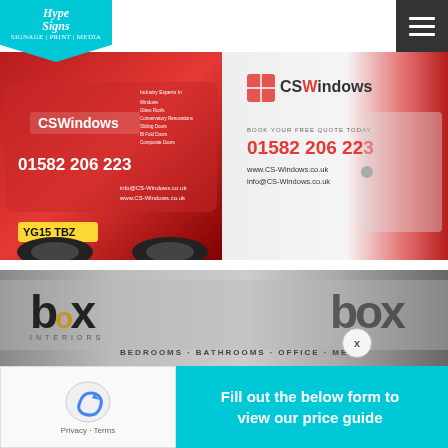[Figure (photo): Hype Signs logo on cyan/teal teardrop-shaped header badge, top left of webpage]
[Figure (photo): Hamburger menu icon (three white lines on dark background), top right corner]
[Figure (photo): Red CSWindows branded van showing rear view with phone number 01582 206 223, website info, and licence plate YG15 TBZ]
[Figure (photo): White and red CSWindows branded van side view with CS Windows logo, phone 01582 206 223, and website www.CS-Windows.co.uk]
[Figure (photo): Grey Box Interiors branded van with large 'box' lettering, services text: BEDROOMS - BATHROOMS - OFFICE - MEDIA]
[Figure (screenshot): reCAPTCHA widget showing Privacy and Terms links, bottom left overlay]
Fill out the below form to view our price guide